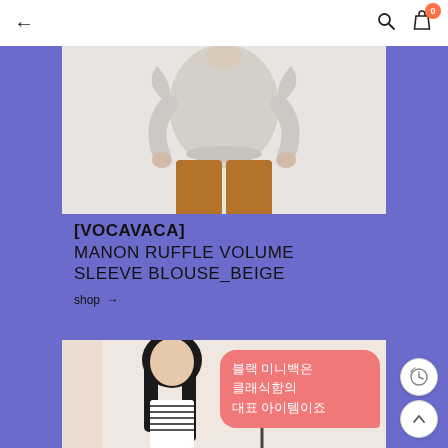← [back] [search] [bag 0]
[Figure (photo): Fashion photo showing a model wearing a beige ruffle volume sleeve blouse with brown wide-leg trousers]
[VOCAVACA] MANON RUFFLE VOLUME SLEEVE BLOUSE_BEIGE
shop →
[Figure (photo): Fashion photo of a young woman with long dark hair wearing a striped top, with a pink coral speech bubble overlay reading in Korean: 블랙 미니백은 클래식함의 대표 아이템이죠]
블랙 미니백은
클래식함의
대표 아이템이죠